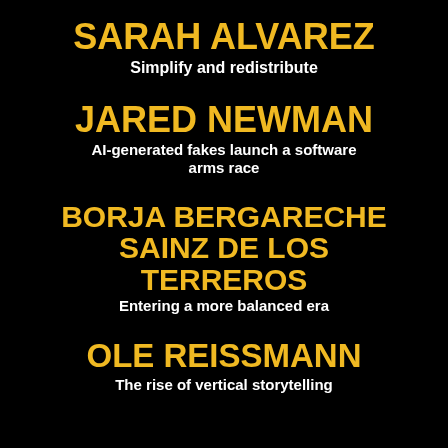SARAH ALVAREZ
Simplify and redistribute
JARED NEWMAN
AI-generated fakes launch a software arms race
BORJA BERGARECHE SAINZ DE LOS TERREROS
Entering a more balanced era
OLE REISSMANN
The rise of vertical storytelling